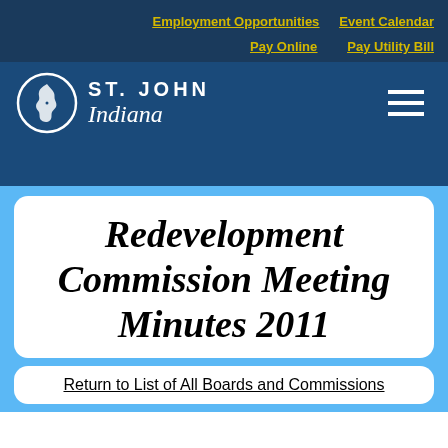Employment Opportunities   Event Calendar   Pay Online   Pay Utility Bill
[Figure (logo): St. John Indiana town logo with Indiana state outline circle and text ST. JOHN Indiana]
Redevelopment Commission Meeting Minutes 2011
Return to List of All Boards and Commissions